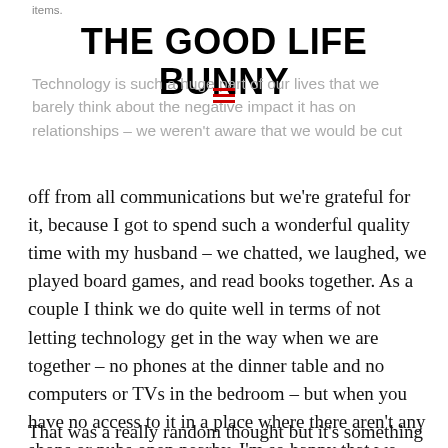items.
THE GOOD LIFE BUNNY
Technology is such a huge part of our lives that we barely think about the negative impact it has on relationships – we weren't aware that we would be cut off from all communications but we're grateful for it, because I got to spend such a wonderful quality time with my husband – we chatted, we laughed, we played board games, and read books together. As a couple I think we do quite well in terms of not letting technology get in the way when we are together – no phones at the dinner table and no computers or TVs in the bedroom – but when you have no access to it in a place where there aren't any shops or pubs open nearby, I'm so happy that we didn't miss the technology and we weren't bored for a second.
That was a really random thought but it's something